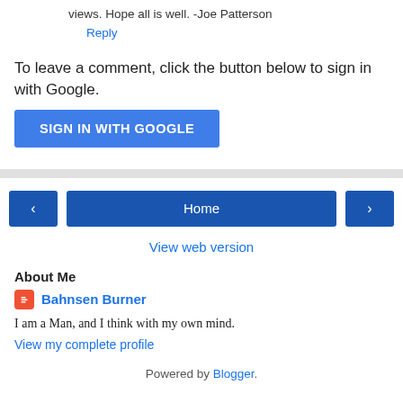views. Hope all is well. -Joe Patterson
Reply
To leave a comment, click the button below to sign in with Google.
SIGN IN WITH GOOGLE
Home
View web version
About Me
Bahnsen Burner
I am a Man, and I think with my own mind.
View my complete profile
Powered by Blogger.